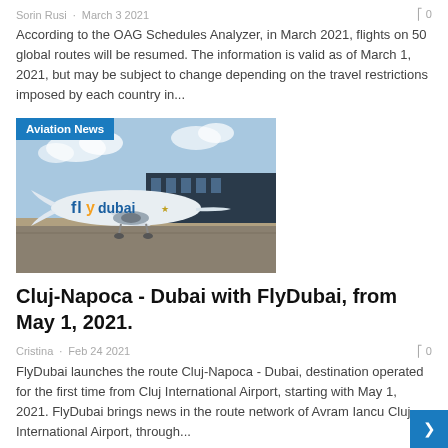Sorin Rusi · March 3 2021   0
According to the OAG Schedules Analyzer, in March 2021, flights on 50 global routes will be resumed. The information is valid as of March 1, 2021, but may be subject to change depending on the travel restrictions imposed by each country in...
[Figure (photo): Flydubai airplane parked on tarmac in front of terminal building with cloudy sky]
Cluj-Napoca - Dubai with FlyDubai, from May 1, 2021.
Cristina · Feb 24 2021   0
FlyDubai launches the route Cluj-Napoca - Dubai, destination operated for the first time from Cluj International Airport, starting with May 1, 2021. FlyDubai brings news in the route network of Avram Iancu Cluj International Airport, through...